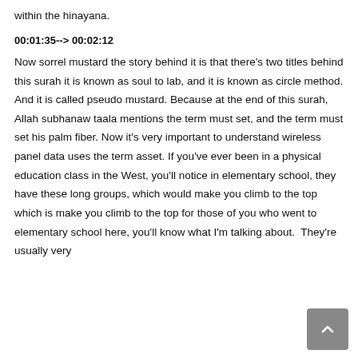within the hinayana.
00:01:35--> 00:02:12
Now sorrel mustard the story behind it is that there's two titles behind this surah it is known as soul to lab, and it is known as circle method. And it is called pseudo mustard. Because at the end of this surah, Allah subhanaw taala mentions the term must set, and the term must set his palm fiber. Now it's very important to understand wireless panel data uses the term asset. If you've ever been in a physical education class in the West, you'll notice in elementary school, they have these long groups, which would make you climb to the top which is make you climb to the top for those of you who went to elementary school here, you'll know what I'm talking about. They're usually very